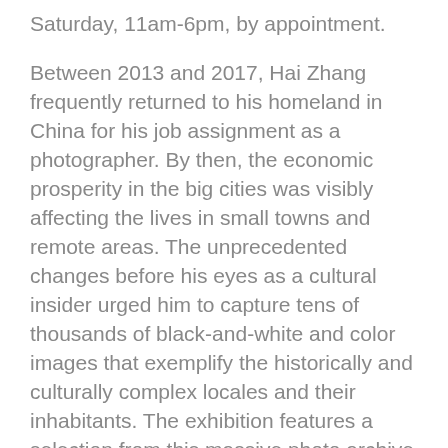Saturday, 11am-6pm, by appointment.
Between 2013 and 2017, Hai Zhang frequently returned to his homeland in China for his job assignment as a photographer. By then, the economic prosperity in the big cities was visibly affecting the lives in small towns and remote areas. The unprecedented changes before his eyes as a cultural insider urged him to capture tens of thousands of black-and-white and color images that exemplify the historically and culturally complex locales and their inhabitants. The exhibition features a selection from this massive photo archive in the format of small prints and large collages.
For more information, click here